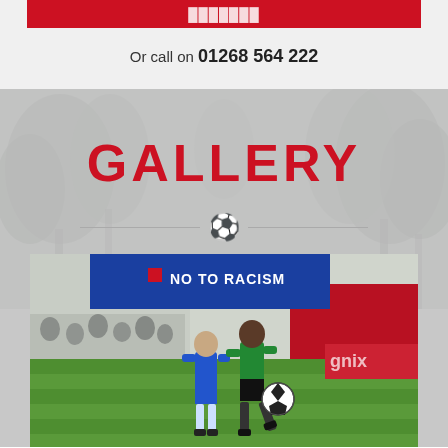Or call on 01268 564 222
GALLERY
[Figure (photo): Football match photo showing two players competing for the ball on a grass pitch. One player in blue kit, another in green and black. Background shows a blue 'NO TO RACISM' banner and red advertising hoardings. Spectators visible on the left.]